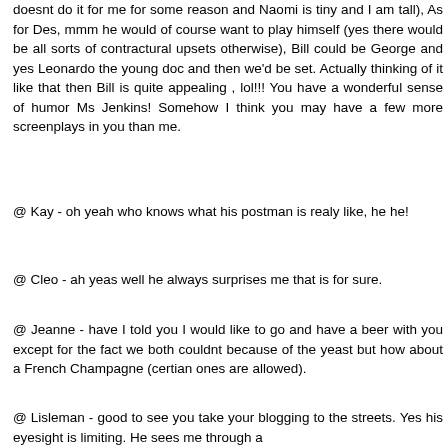doesnt do it for me for some reason and Naomi is tiny and I am tall), As for Des, mmm he would of course want to play himself (yes there would be all sorts of contractural upsets otherwise), Bill could be George and yes Leonardo the young doc and then we'd be set. Actually thinking of it like that then Bill is quite appealing , lol!!! You have a wonderful sense of humor Ms Jenkins! Somehow I think you may have a few more screenplays in you than me.
@ Kay - oh yeah who knows what his postman is realy like, he he!
@ Cleo - ah yeas well he always surprises me that is for sure.
@ Jeanne - have I told you I would like to go and have a beer with you except for the fact we both couldnt because of the yeast but how about a French Champagne (certian ones are allowed).
@ Lisleman - good to see you take your blogging to the streets. Yes his eyesight is limiting. He sees me through a